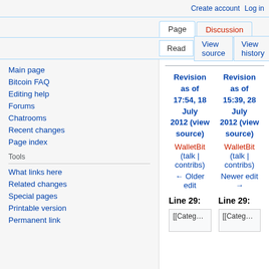Create account  Log in
Page  Discussion
Read  View source  View history  Search Bitco
Main page
Bitcoin FAQ
Editing help
Forums
Chatrooms
Recent changes
Page index
Tools
What links here
Related changes
Special pages
Printable version
Permanent link
Revision as of 17:54, 18 July 2012 (view source)
WalletBit (talk | contribs)
← Older edit
Revision as of 15:39, 28 July 2012 (view source)
WalletBit (talk | contribs)
Newer edit →
Line 29:
Line 29:
[[Category:Wal...
[[Category:Wal...